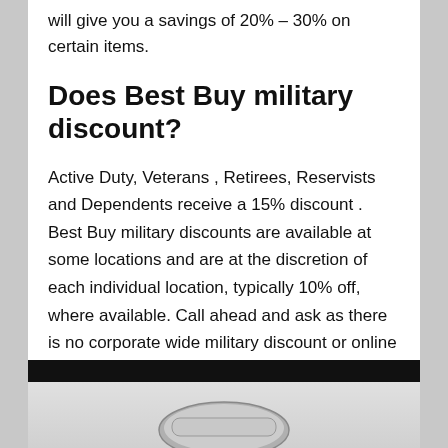will give you a savings of 20% – 30% on certain items.
Does Best Buy military discount?
Active Duty, Veterans , Retirees, Reservists and Dependents receive a 15% discount . Best Buy military discounts are available at some locations and are at the discretion of each individual location, typically 10% off, where available. Call ahead and ask as there is no corporate wide military discount or online discount .
[Figure (photo): Photo of a device (appears to be a laptop or tablet) with a black top bar and silver/grey body visible at the bottom of the page.]